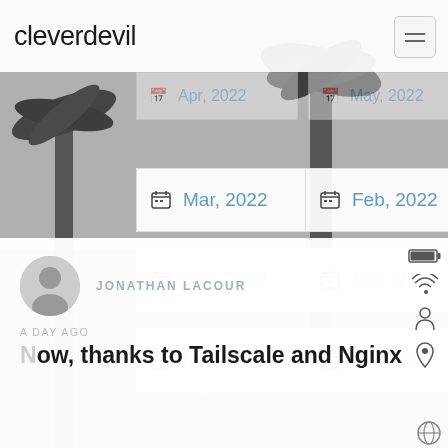cleverdevil
[Figure (screenshot): Black and white desert landscape with palm/Joshua trees as background]
Mar, 2022
Feb, 2022
Jan, 2022
Dec, 2021
Nov, 2021
Oct, 2021
JONATHAN LACOUR
A DAY AGO
Now, thanks to Tailscale and Nginx